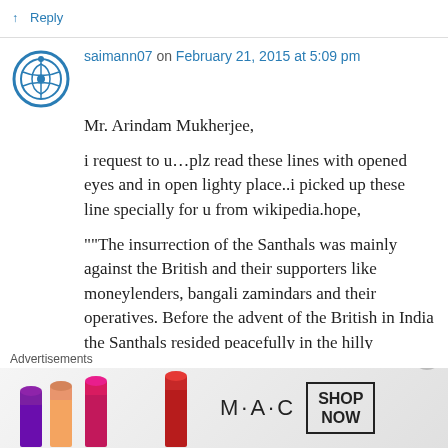↑ Reply
saimann07 on February 21, 2015 at 5:09 pm
Mr. Arindam Mukherjee,
i request to u…plz read these lines with opened eyes and in open lighty place..i picked up these line specially for u from wikipedia.hope,

""The insurrection of the Santhals was mainly against the British and their supporters like moneylenders, bangali zamindars and their operatives. Before the advent of the British in India the Santhals resided peacefully in the hilly districts of Mara Lari, Chhota nagpur, Palaman
Advertisements
[Figure (photo): M·A·C cosmetics advertisement showing lipsticks with SHOP NOW text]